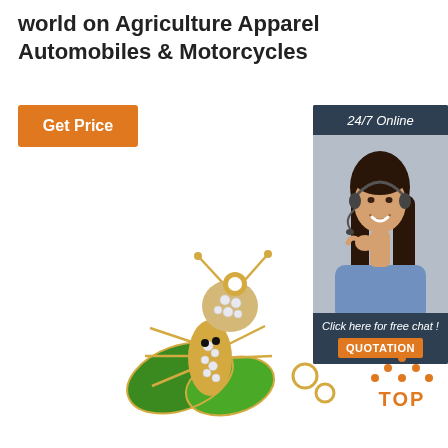world on Agriculture Apparel Automobiles & Motorcycles
[Figure (other): Orange 'Get Price' button]
[Figure (other): 24/7 Online chat widget with customer service representative photo, 'Click here for free chat!' text, and orange QUOTATION button]
[Figure (other): Gold and crystal insect/bee brooch jewelry with green enamel wings and rhinestone decorations]
[Figure (logo): TOP logo with orange dot triangle above the text]